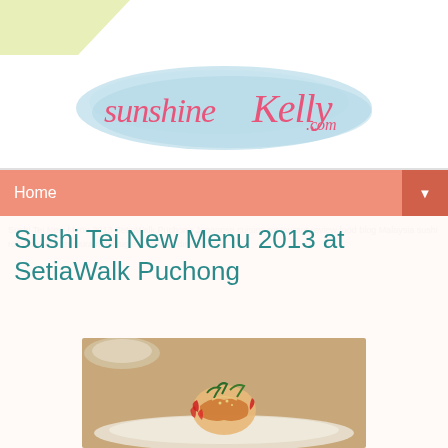[Figure (logo): SunshineKelly.com blog logo with pink cursive script on a light blue watercolor brush stroke background, with a small green brush stroke top-left]
Home ▼
Sushi Tei New Menu 2013 at SetiaWalk Puchong
[Figure (photo): Close-up photo of a Japanese sushi/appetizer dish garnished with red peppers and green herbs on a white plate, with another dish blurred in background]